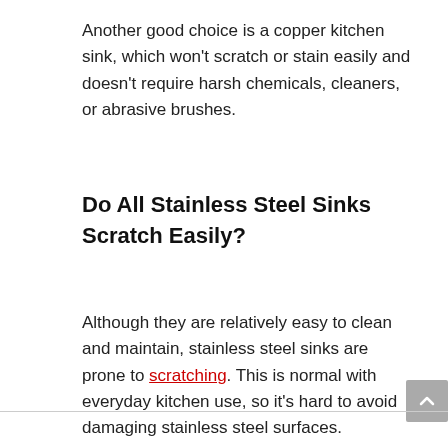Another good choice is a copper kitchen sink, which won't scratch or stain easily and doesn't require harsh chemicals, cleaners, or abrasive brushes.
Do All Stainless Steel Sinks Scratch Easily?
Although they are relatively easy to clean and maintain, stainless steel sinks are prone to scratching. This is normal with everyday kitchen use, so it's hard to avoid damaging stainless steel surfaces.